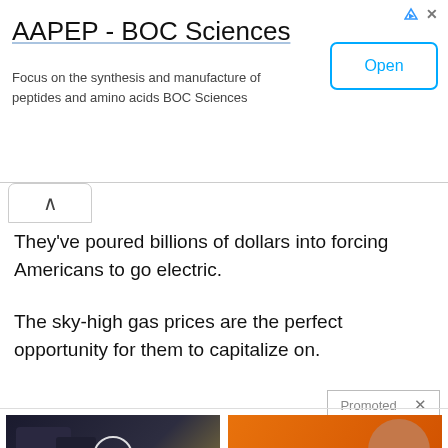[Figure (screenshot): Ad banner for AAPEP - BOC Sciences with Open button]
AAPEP - BOC Sciences
Focus on the synthesis and manufacture of peptides and amino acids BOC Sciences
They've poured billions of dollars into forcing Americans to go electric.
The sky-high gas prices are the perfect opportunity for them to capitalize on.
Promoted
[Figure (screenshot): Video thumbnail showing two men in a studio with NYSE ticker, with play button overlay]
Biden Probably Wants This Video Destroyed — US Dollar On Path Towards Replacement?
146,272
[Figure (photo): Photo of Nancy Pelosi in blue against orange background]
SIGN THE PETITION: 100,000 Signatures to Impeach Speaker Nancy Pelosi
59,360